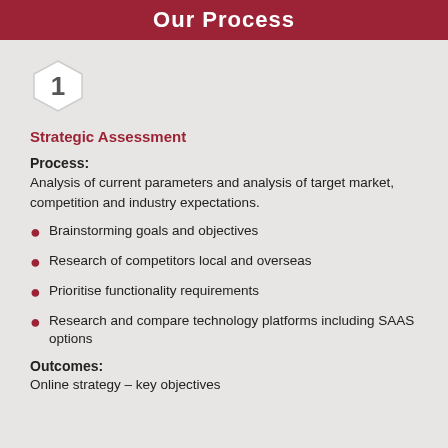Our Process
[Figure (other): Hexagon shape with number 1 inside]
Strategic Assessment
Process:
Analysis of current parameters and analysis of target market, competition and industry expectations.
Brainstorming goals and objectives
Research of competitors local and overseas
Prioritise functionality requirements
Research and compare technology platforms including SAAS options
Outcomes:
Online strategy – key objectives